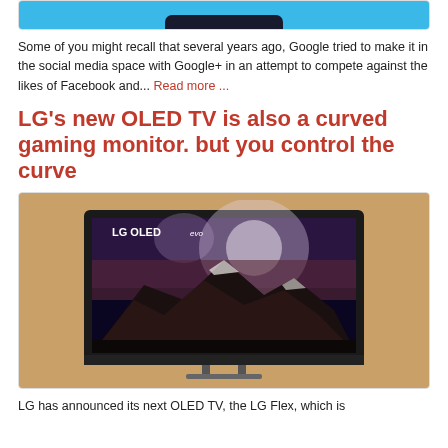[Figure (photo): Top portion of an article image showing a blue background with a dark phone/device bar at the bottom edge]
Some of you might recall that several years ago, Google tried to make it in the social media space with Google+ in an attempt to compete against the likes of Facebook and... Read more ...
LG's new OLED TV is also a curved gaming monitor. but you control the curve
[Figure (photo): LG OLED evo TV displayed against a tan/brown background, showing a mountain landscape with galaxy sky on screen, with LG OLED evo branding on the bezel]
LG has announced its next OLED TV, the LG Flex, which is